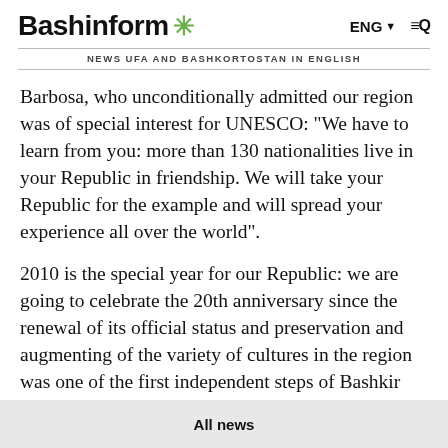Bashinform * NEWS UFA AND BASHKORTOSTAN IN ENGLISH ENG ▼ ≡Q
Barbosa, who unconditionally admitted our region was of special interest for UNESCO: “We have to learn from you: more than 130 nationalities live in your Republic in friendship. We will take your Republic for the example and will spread your experience all over the world”.
2010 is the special year for our Republic: we are going to celebrate the 20th anniversary since the renewal of its official status and preservation and augmenting of the variety of cultures in the region was one of the first independent steps of Bashkir authority.
All news